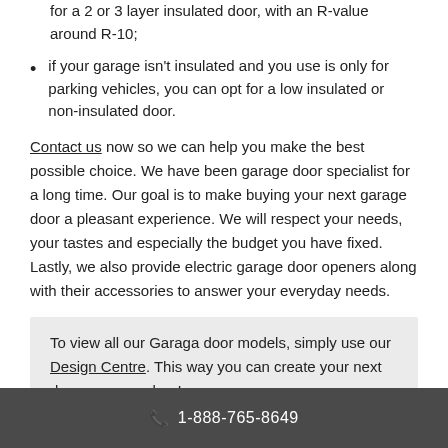for a 2 or 3 layer insulated door, with an R-value around R-10;
if your garage isn't insulated and you use is only for parking vehicles, you can opt for a low insulated or non-insulated door.
Contact us now so we can help you make the best possible choice. We have been garage door specialist for a long time. Our goal is to make buying your next garage door a pleasant experience. We will respect your needs, your tastes and especially the budget you have fixed. Lastly, we also provide electric garage door openers along with their accessories to answer your everyday needs.
To view all our Garaga door models, simply use our Design Centre. This way you can create your next dream garage door!
1-888-765-8649